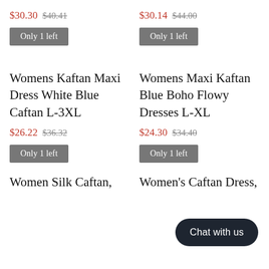$30.30 $40.41
$30.14 $44.00
Only 1 left
Only 1 left
Womens Kaftan Maxi Dress White Blue Caftan L-3XL
Womens Maxi Kaftan Blue Boho Flowy Dresses L-XL
$26.22 $36.32
$24.30 $34.40
Only 1 left
Only 1 left
Chat with us
Women Silk Caftan,
Women's Caftan Dress,